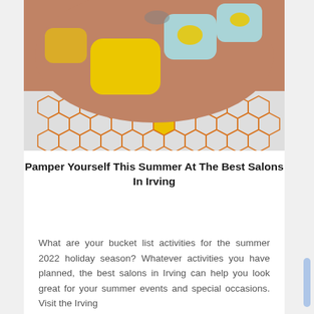[Figure (photo): Close-up photo of hands with yellow and light blue nail art (sunflower design on blue nails, solid yellow on thumb), holding a white fabric with orange honeycomb pattern.]
Pamper Yourself This Summer At The Best Salons In Irving
What are your bucket list activities for the summer 2022 holiday season? Whatever activities you have planned, the best salons in Irving can help you look great for your summer events and special occasions. Visit the Irving